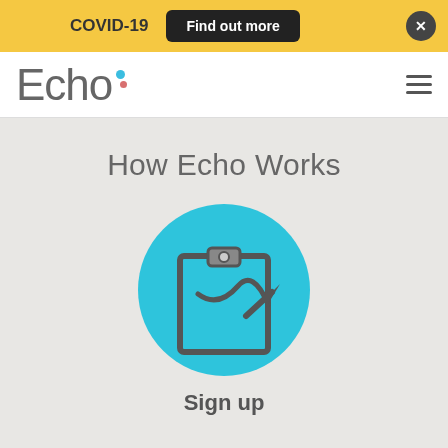COVID-19  Find out more  ×
[Figure (logo): Echo logo with colorful dots]
How Echo Works
[Figure (illustration): Cyan circle with clipboard and pen icon representing sign up]
Sign up